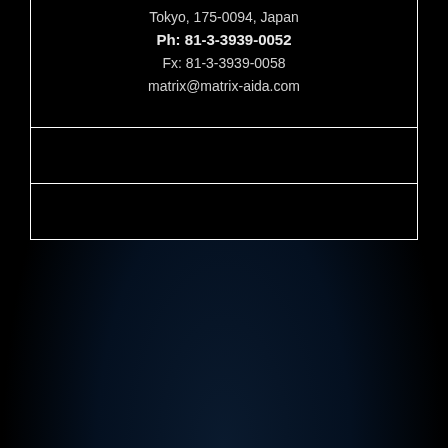Tokyo, 175-0094, Japan
Ph: 81-3-3939-0052
Fx: 81-3-3939-0058
matrix@matrix-aida.com